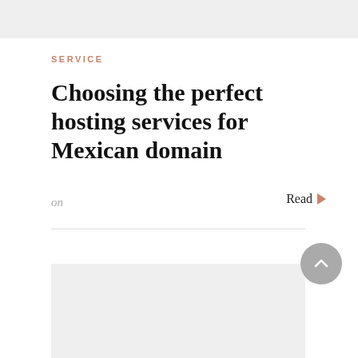SERVICE
Choosing the perfect hosting services for Mexican domain
on
Read